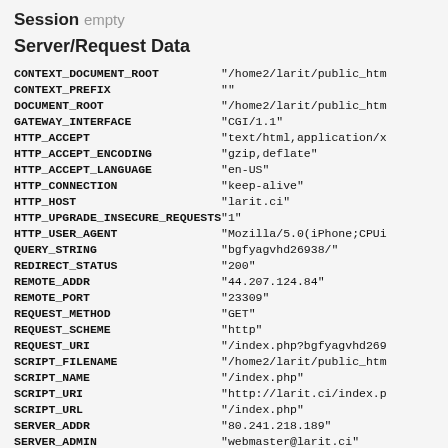Session empty
Server/Request Data
| Key | Value |
| --- | --- |
| CONTEXT_DOCUMENT_ROOT | "/home2/larit/public_htm |
| CONTEXT_PREFIX | "" |
| DOCUMENT_ROOT | "/home2/larit/public_htm |
| GATEWAY_INTERFACE | "CGI/1.1" |
| HTTP_ACCEPT | "text/html,application/x |
| HTTP_ACCEPT_ENCODING | "gzip,deflate" |
| HTTP_ACCEPT_LANGUAGE | "en-US" |
| HTTP_CONNECTION | "keep-alive" |
| HTTP_HOST | "larit.ci" |
| HTTP_UPGRADE_INSECURE_REQUESTS | "1" |
| HTTP_USER_AGENT | "Mozilla/5.0(iPhone;CPUi |
| QUERY_STRING | "bgfyagvhd26938/" |
| REDIRECT_STATUS | "200" |
| REMOTE_ADDR | "44.207.124.84" |
| REMOTE_PORT | "23309" |
| REQUEST_METHOD | "GET" |
| REQUEST_SCHEME | "http" |
| REQUEST_URI | "/index.php?bgfyagvhd269 |
| SCRIPT_FILENAME | "/home2/larit/public_htm |
| SCRIPT_NAME | "/index.php" |
| SCRIPT_URI | "http://larit.ci/index.p |
| SCRIPT_URL | "/index.php" |
| SERVER_ADDR | "80.241.218.189" |
| SERVER_ADMIN | "webmaster@larit.ci" |
| SERVER_NAME | "larit.ci" |
| SERVER_PORT | "80" |